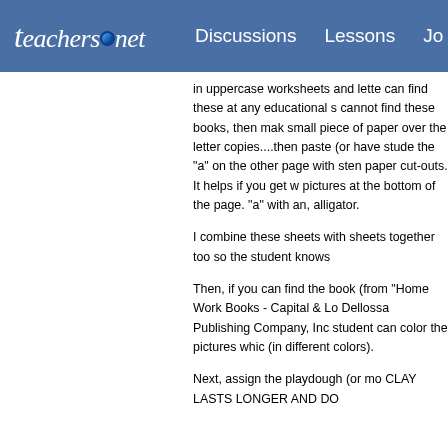teachers.net  Discussions  Lessons  Jo
in uppercase worksheets and lette can find these at any educational s cannot find these books, then mak small piece of paper over the letter copies....then paste (or have stude the "a" on the other page with sten paper cut-outs. It helps if you get w pictures at the bottom of the page. "a" with an, alligator.
I combine these sheets with sheets together too so the student knows
Then, if you can find the book (from "Home Work Books - Capital & Lo Dellossa Publishing Company, Inc student can color the pictures whic (in different colors).
Next, assign the playdough (or mo CLAY LASTS LONGER AND DO